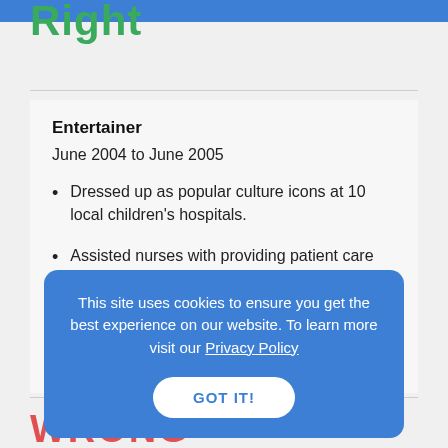Right
Entertainer
June 2004 to June 2005
Dressed up as popular culture icons at 10 local children's hospitals.
Assisted nurses with providing patient care during visits.
This site uses cookies to ensure you get the best experience on our website. To learn more visit our Privacy Policy
GOT IT!
WRONG